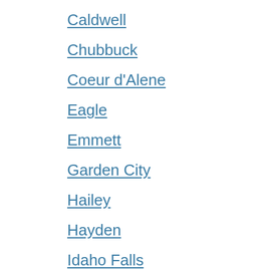Caldwell
Chubbuck
Coeur d'Alene
Eagle
Emmett
Garden City
Hailey
Hayden
Idaho Falls
Jerome
Kuna